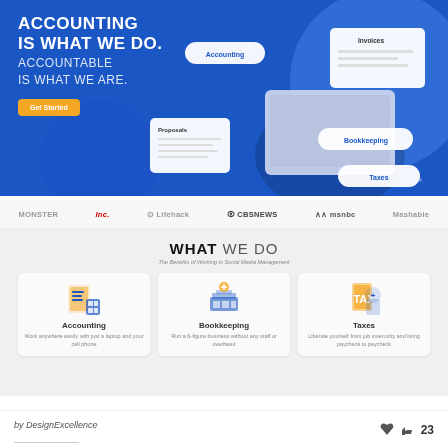[Figure (screenshot): Hero banner screenshot of an accounting website showing blue background with white text 'ACCOUNTING IS WHAT WE DO. ACCOUNTABLE IS WHAT WE ARE.' with an orange Get Started button and a woman sitting cross-legged with a laptop, surrounded by floating UI cards labeled Accounting, Bookkeeping, Taxes, Invoices, and Proposals]
[Figure (screenshot): Media logos bar showing MONSTER, Inc., Lifehack, CBSNEWS, msnbc, Mashable]
WHAT WE DO
The Benefits of Working in Social Media Management
[Figure (infographic): Three service cards: Accounting - Work anywhere easily with just a laptop and your cell phone; Bookkeeping - Run a 6-figure business without any staff or overhead; Taxes - Liberate yourself from job insecurity and living paycheck to paycheck]
by DesignExcellence  👍 23